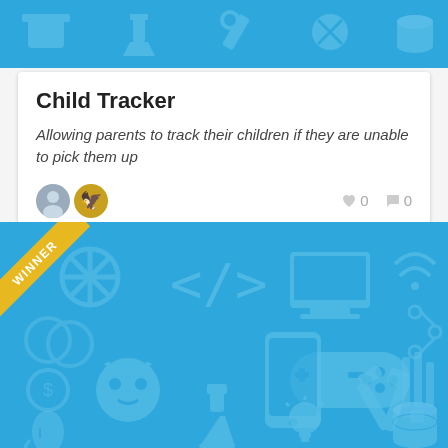[Figure (illustration): Blue banner with tech icons pattern at the top]
Child Tracker
Allowing parents to track their children if they are unable to pick them up
[Figure (illustration): Blue section with tech/coding icons pattern and a WINNER ribbon banner in the top-left corner]